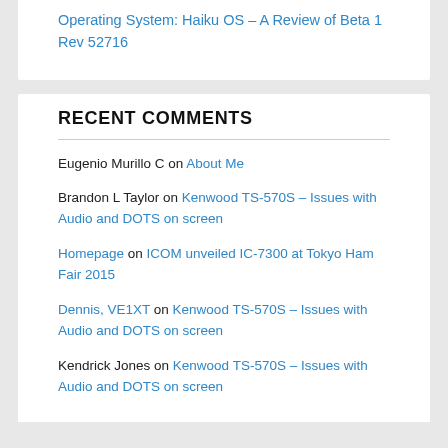Operating System: Haiku OS – A Review of Beta 1 Rev 52716
RECENT COMMENTS
Eugenio Murillo C on About Me
Brandon L Taylor on Kenwood TS-570S – Issues with Audio and DOTS on screen
Homepage on ICOM unveiled IC-7300 at Tokyo Ham Fair 2015
Dennis, VE1XT on Kenwood TS-570S – Issues with Audio and DOTS on screen
Kendrick Jones on Kenwood TS-570S – Issues with Audio and DOTS on screen